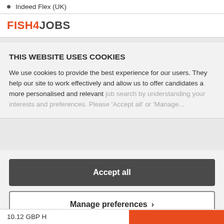Indeed Flex (UK)
[Figure (logo): FISH4JOBS logo in orange and dark grey text]
THIS WEBSITE USES COOKIES
We use cookies to provide the best experience for our users. They help our site to work effectively and allow us to offer candidates a more personalised and relevant job search by understanding your interests and preferences. Please 'Accept all' or 'Manage...
Accept all
Manage preferences >
10.12 GBP H...